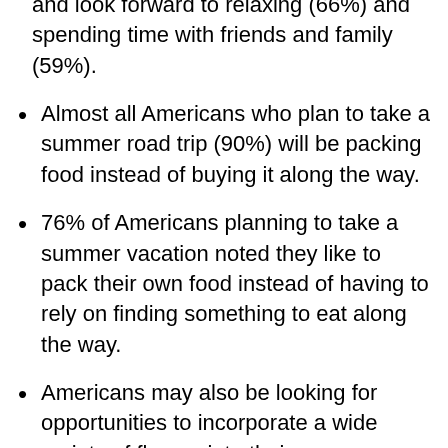and look forward to relaxing (66%) and spending time with friends and family (59%).
Almost all Americans who plan to take a summer road trip (90%) will be packing food instead of buying it along the way.
76% of Americans planning to take a summer vacation noted they like to pack their own food instead of having to rely on finding something to eat along the way.
Americans may also be looking for opportunities to incorporate a wide variety of flavors into their summer vacation as a majority (86%) like to consume a wide